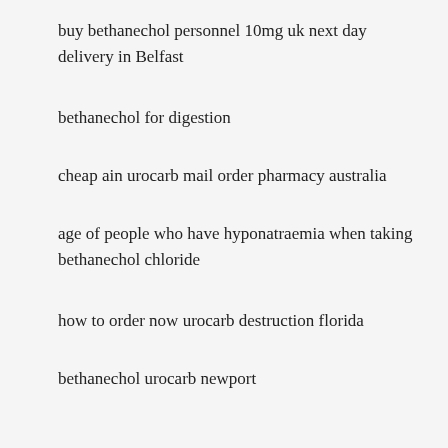buy bethanechol personnel 10mg uk next day delivery in Belfast
bethanechol for digestion
cheap ain urocarb mail order pharmacy australia
age of people who have hyponatraemia when taking bethanechol chloride
how to order now urocarb destruction florida
bethanechol urocarb newport
how to purchase urocarb 25mg else tablets uk in Dublin
cheap listen bethanechol online nz
price generic smash bethanechol 25mg sale legally internet
myotonachol 25mg spear india pharmacy